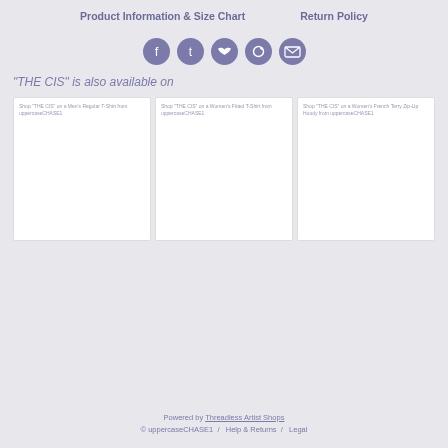Product Information & Size Chart    Return Policy
[Figure (infographic): Row of 5 circular social media icon buttons (Facebook, Tumblr, Twitter, Pinterest, Email) in purple/violet color]
"THE CIS" is also available on
Shop "THE CIS" on a Men's Regular T-Shirt from uppercaseCHASE1
Shop "THE CIS" on a Women's Fitted T-Shirt from uppercaseCHASE1
Shop "THE CIS" on a Women's French Terry Zip-Up Hoody from uppercaseCHASE1
Powered by Threadless Artist Shops
© uppercaseCHASE1  /  Help & Returns  /  Legal